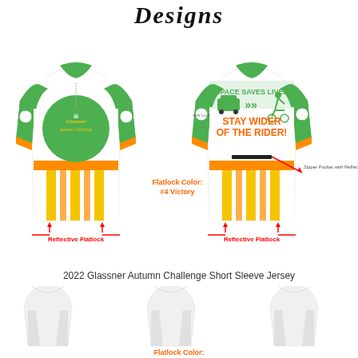Designs
[Figure (illustration): Front and back views of 2022 Glassner Autumn Challenge Short Sleeve Jersey with green, white, orange, and yellow stripe design. Front shows Glassner Autumn Challenge logo in green circle. Back shows 'SPACE SAVES LIVES - STAY WIDER OF THE RIDER!' text with car and cyclist icons. Red arrows and labels point to Reflective Flatlock seams. Label shows Flatlock Color: #4 Victory. Back also shows Zipper Pocket with Reflective Trim label.]
2022 Glassner Autumn Challenge Short Sleeve Jersey
[Figure (illustration): Three views of bib shorts in white/grey with Flatlock Color label in orange at bottom.]
Flatlock Color: